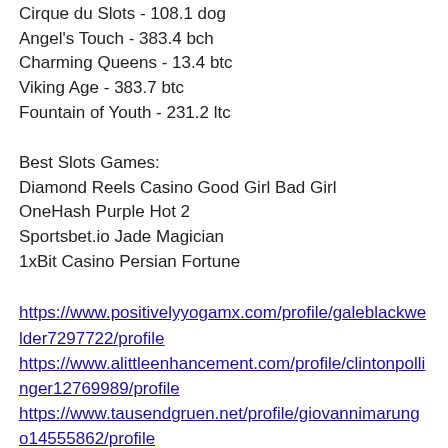Cirque du Slots - 108.1 dog
Angel's Touch - 383.4 bch
Charming Queens - 13.4 btc
Viking Age - 383.7 btc
Fountain of Youth - 231.2 ltc
Best Slots Games:
Diamond Reels Casino Good Girl Bad Girl
OneHash Purple Hot 2
Sportsbet.io Jade Magician
1xBit Casino Persian Fortune
https://www.positivelyyogamx.com/profile/galeblackwelder7297722/profile https://www.alittleenhancement.com/profile/clintonpollinger12769989/profile https://www.tausendgruen.net/profile/giovannimarungo14555862/profile https://www.artistsatplayworkshops.com/profile/colemanrakow8401999/profile